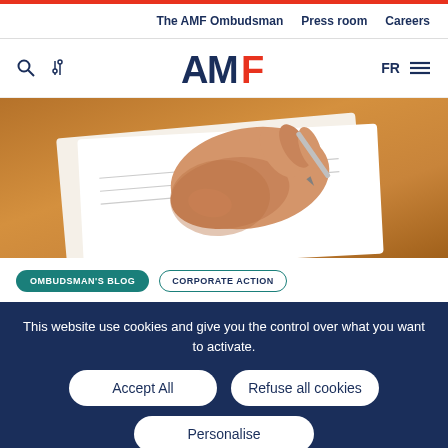The AMF Ombudsman  Press room  Careers
[Figure (logo): AMF logo with search icon, tools icon, FR language switcher and hamburger menu]
[Figure (photo): A hand holding a pen signing or writing on a document on a wooden desk]
OMBUDSMAN'S BLOG  CORPORATE ACTION
This website use cookies and give you the control over what you want to activate.
Accept All
Refuse all cookies
Personalise